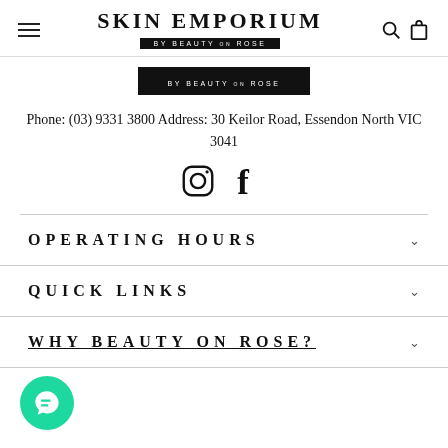SKIN EMPORIUM BY BEAUTY ON ROSE
[Figure (logo): Skin Emporium by Beauty on Rose logo with black banner]
Phone: (03) 9331 3800 Address: 30 Keilor Road, Essendon North VIC 3041
[Figure (illustration): Instagram and Facebook social media icons]
OPERATING HOURS
QUICK LINKS
WHY BEAUTY ON ROSE?